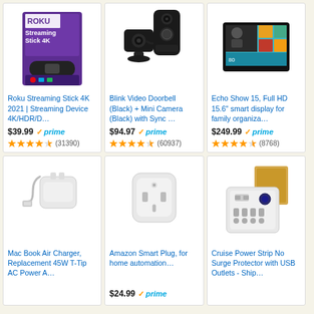[Figure (photo): Roku Streaming Stick 4K product box]
Roku Streaming Stick 4K 2021 | Streaming Device 4K/HDR/D…
$39.99 ✓prime
★★★★½ (31390)
[Figure (photo): Blink Video Doorbell and Mini Camera in black]
Blink Video Doorbell (Black) + Mini Camera (Black) with Sync …
$94.97 ✓prime
★★★★½ (60937)
[Figure (photo): Echo Show 15 smart display]
Echo Show 15, Full HD 15.6" smart display for family organiza…
$249.99 ✓prime
★★★★½ (8768)
[Figure (photo): Mac Book Air Charger white 45W T-Tip AC Power Adapter]
Mac Book Air Charger, Replacement 45W T-Tip AC Power A…
[Figure (photo): Amazon Smart Plug white cube]
Amazon Smart Plug, for home automation…
$24.99 ✓prime
[Figure (photo): Cruise Power Strip No Surge Protector with USB Outlets]
Cruise Power Strip No Surge Protector with USB Outlets - Ship…